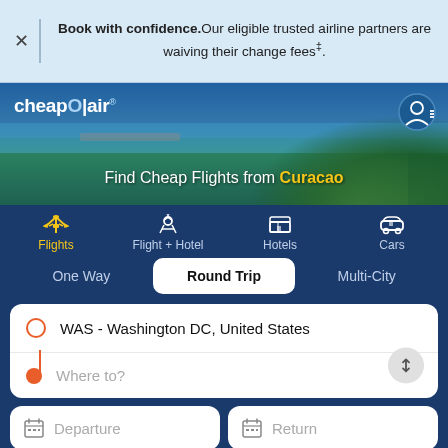Book with confidence. Our eligible trusted airline partners are waiving their change fees‡.
[Figure (screenshot): CheapOair website header with logo, user icon, and 'Find Cheap Flights from Curacao' hero banner with tropical beach background]
Flights
Flight + Hotel
Hotels
Cars
One Way
Round Trip
Multi-City
WAS - Washington DC, United States
Where to?
Departure
Return